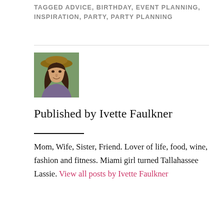TAGGED ADVICE, BIRTHDAY, EVENT PLANNING, INSPIRATION, PARTY, PARTY PLANNING
[Figure (photo): Portrait photo of Ivette Faulkner wearing a wide-brim hat, smiling, with long dark hair, outdoors]
Published by Ivette Faulkner
Mom, Wife, Sister, Friend. Lover of life, food, wine, fashion and fitness. Miami girl turned Tallahassee Lassie. View all posts by Ivette Faulkner